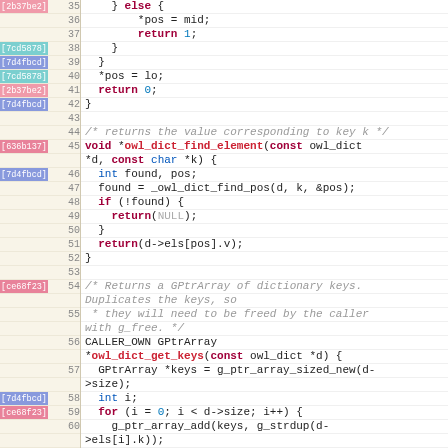[Figure (screenshot): Source code view with git blame annotations showing C code for owl_dict functions. Lines 35-62 are shown with commit hashes in colored badges on the left gutter and line numbers, followed by syntax-highlighted C code.]